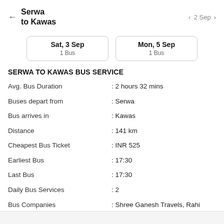Serwa to Kawas | 2 Sep
Sat, 3 Sep 1 Bus | Mon, 5 Sep 1 Bus
SERWA TO KAWAS BUS SERVICE
|  |  |
| --- | --- |
| Avg. Bus Duration | : 2 hours 32 mins |
| Buses depart from | : Serwa |
| Bus arrives in | : Kawas |
| Distance | : 141 km |
| Cheapest Bus Ticket | : INR 525 |
| Earliest Bus | : 17:30 |
| Last Bus | : 17:30 |
| Daily Bus Services | : 2 |
| Bus Companies | : Shree Ganesh Travels, Rahi Travels, Aurangabad |